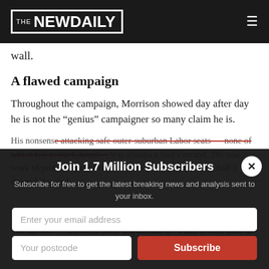THE NEW DAILY
wall.
A flawed campaign
Throughout the campaign, Morrison showed day after day he is not the “genius” campaigner so many claim he is.
His nonsense... safe outer-suburban Labor seats — none of which fell to the Liberals – was always a fool’s errand. The real work of protecting the heartland was left unattended and half a dozen Liberals l...
Join 1.7 Million Subscribers
Subscribe for free to get the latest breaking news and analysis sent to your inbox.
Enter your email address
Your postcode
Subscribe
The day-to-d... one-trick pony and anyone a... e had to only look at what he did in 2... as a Burger...